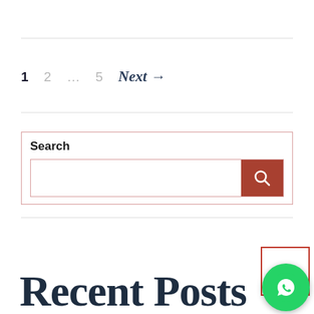1   2   ...   5   Next →
Search
[Figure (screenshot): Search input box with a terracotta/red search button containing a magnifying glass icon]
Recent Posts
[Figure (illustration): Scroll-to-top button (red house/up arrow icon) and WhatsApp floating button (green circle with WhatsApp logo)]